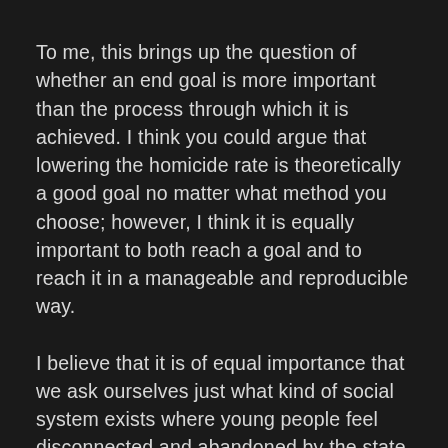To me, this brings up the question of whether an end goal is more important than the process through which it is achieved. I think you could argue that lowering the homicide rate is theoretically a good goal no matter what method you choose; however, I think it is equally important to both reach a goal and to reach it in a manageable and reproducible way.
I believe that it is of equal importance that we ask ourselves just what kind of social system exists where young people feel disconnected and abandoned by the state to the point that gangs and cartels become support systems. In Sao Paulo it seems that the driving force behind